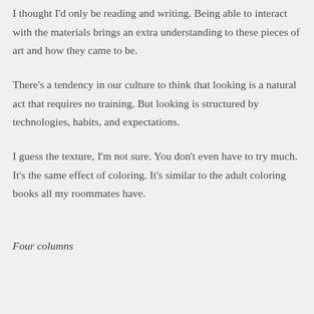I thought I'd only be reading and writing. Being able to interact with the materials brings an extra understanding to these pieces of art and how they came to be.
There's a tendency in our culture to think that looking is a natural act that requires no training. But looking is structured by technologies, habits, and expectations.
I guess the texture, I'm not sure. You don't even have to try much. It's the same effect of coloring. It's similar to the adult coloring books all my roommates have.
Four columns